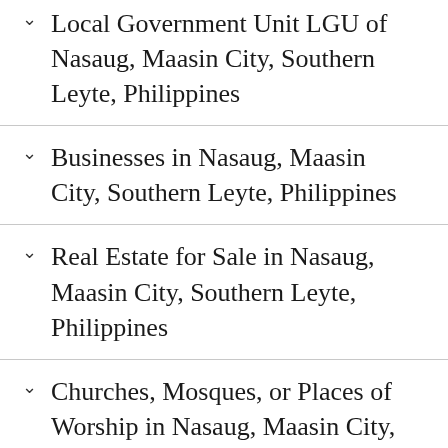Local Government Unit LGU of Nasaug, Maasin City, Southern Leyte, Philippines
Businesses in Nasaug, Maasin City, Southern Leyte, Philippines
Real Estate for Sale in Nasaug, Maasin City, Southern Leyte, Philippines
Churches, Mosques, or Places of Worship in Nasaug, Maasin City, Southern Leyte, Philippines